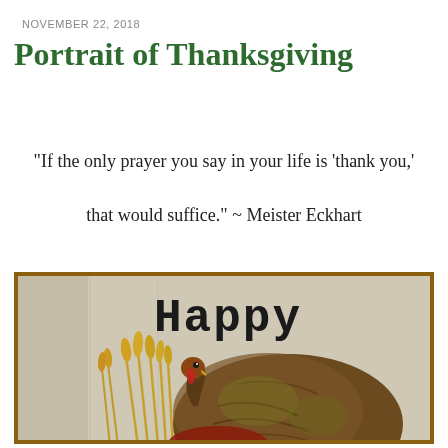NOVEMBER 22, 2018
Portrait of Thanksgiving
“If the only prayer you say in your life is ‘thank you,’ that would suffice.” ~ Meister Eckhart
[Figure (illustration): Painting of a turkey with wheat stalks, with 'Happy' text written above, rustic folk-art style with muted background]